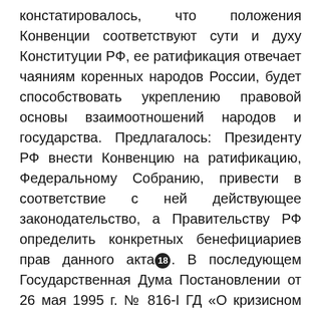констатировалось, что положения Конвенции соответствуют сути и духу Конституции РФ, ее ратификация отвечает чаяниям коренных народов России, будет способствовать укреплению правовой основы взаимоотношений народов и государства. Предлагалось: Президенту РФ внести Конвенцию на ратификацию, Федеральному Собранию, привести в соответствие с ней действующее законодательство, а Правительству РФ определить конкретных бенефициариев прав данного акта[18]. В последующем Государственная Дума Постановлении от 26 мая 1995 г. № 816-I ГД «О кризисном положении экономики и культуры малочисленных коренных (аборигенных) народов Севера, Сибири и Дальнего Востока Российской Федерации» подтвердила адресованное Президенту РФ предложение